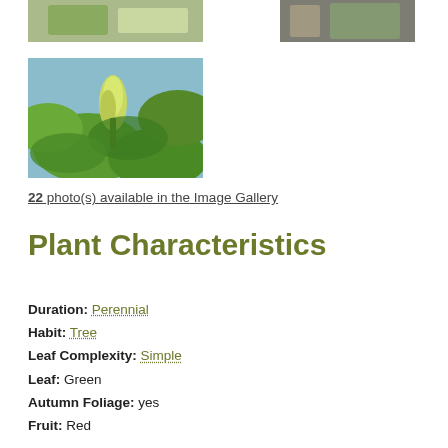[Figure (photo): Partial top of a plant/tree photo, cropped at top of page, left side]
[Figure (photo): Partial top of a tree bark photo, cropped at top of page, right side]
[Figure (photo): Photo of green leaves and a yellow-green flower bud of a tree, viewed from below against blue sky]
22 photo(s) available in the Image Gallery
Plant Characteristics
Duration: Perennial
Habit: Tree
Leaf Complexity: Simple
Leaf: Green
Autumn Foliage: yes
Fruit: Red